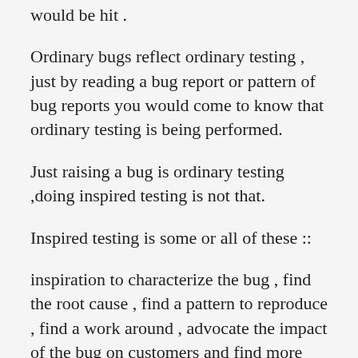would be hit .
Ordinary bugs reflect ordinary testing , just by reading a bug report or pattern of bug reports you would come to know that ordinary testing is being performed.
Just raising a bug is ordinary testing ,doing inspired testing is not that.
Inspired testing is some or all of these  ::
inspiration to characterize the bug , find the root cause , find a pattern to reproduce , find a work around , advocate the impact of the bug on customers and find more bugs!
If you are inspired enough , just do not be a